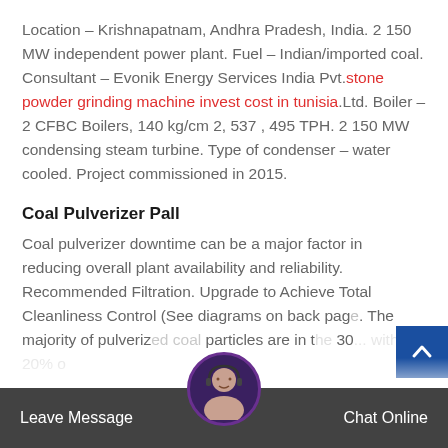Location – Krishnapatnam, Andhra Pradesh, India. 2 150 MW independent power plant. Fuel – Indian/imported coal. Consultant – Evonik Energy Services India Pvt.stone powder grinding machine invest cost in tunisia.Ltd. Boiler – 2 CFBC Boilers, 140 kg/cm 2, 537 , 495 TPH. 2 150 MW condensing steam turbine. Type of condenser – water cooled. Project commissioned in 2015.
Coal Pulverizer Pall
Coal pulverizer downtime can be a major factor in reducing overall plant availability and reliability. Recommended Filtration. Upgrade to Achieve Total Cleanliness Control (See diagrams on back page). The majority of pulverized coal particles are in the 30... with 20% or...
Leave Message   Chat Online